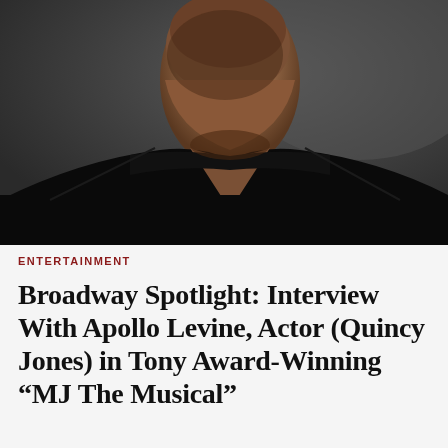[Figure (photo): A Black man in a black V-neck shirt photographed from the chest up, turned slightly to the side, against a dark gray background. Professional headshot style.]
ENTERTAINMENT
Broadway Spotlight: Interview With Apollo Levine, Actor (Quincy Jones) in Tony Award-Winning “MJ The Musical”